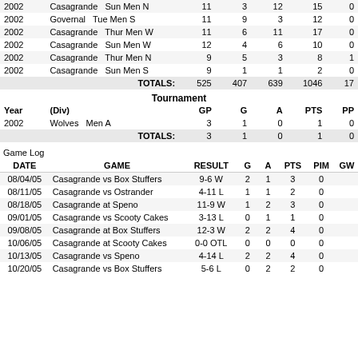| Year | (Div) | GP | G | A | PTS | PP |
| --- | --- | --- | --- | --- | --- | --- |
| 2002 | Casagrande   Sun Men N | 11 | 3 | 12 | 15 | 0 |
| 2002 | Governal   Tue Men S | 11 | 9 | 3 | 12 | 0 |
| 2002 | Casagrande   Thur Men W | 11 | 6 | 11 | 17 | 0 |
| 2002 | Casagrande   Sun Men W | 12 | 4 | 6 | 10 | 0 |
| 2002 | Casagrande   Thur Men N | 9 | 5 | 3 | 8 | 1 |
| 2002 | Casagrande   Sun Men S | 9 | 1 | 1 | 2 | 0 |
|  | TOTALS: | 525 | 407 | 639 | 1046 | 17 |
Tournament
| Year | (Div) | GP | G | A | PTS | PP |
| --- | --- | --- | --- | --- | --- | --- |
| 2002 | Wolves   Men A | 3 | 1 | 0 | 1 | 0 |
|  | TOTALS: | 3 | 1 | 0 | 1 | 0 |
Game Log
| DATE | GAME | RESULT | G | A | PTS | PIM | GW |
| --- | --- | --- | --- | --- | --- | --- | --- |
| 08/04/05 | Casagrande vs Box Stuffers | 9-6 W | 2 | 1 | 3 | 0 |  |
| 08/11/05 | Casagrande vs Ostrander | 4-11 L | 1 | 1 | 2 | 0 |  |
| 08/18/05 | Casagrande at Speno | 11-9 W | 1 | 2 | 3 | 0 |  |
| 09/01/05 | Casagrande vs Scooty Cakes | 3-13 L | 0 | 1 | 1 | 0 |  |
| 09/08/05 | Casagrande at Box Stuffers | 12-3 W | 2 | 2 | 4 | 0 |  |
| 10/06/05 | Casagrande at Scooty Cakes | 0-0 OTL | 0 | 0 | 0 | 0 |  |
| 10/13/05 | Casagrande vs Speno | 4-14 L | 2 | 2 | 4 | 0 |  |
| 10/20/05 | Casagrande vs Box Stuffers | 5-6 L | 0 | 2 | 2 | 0 |  |